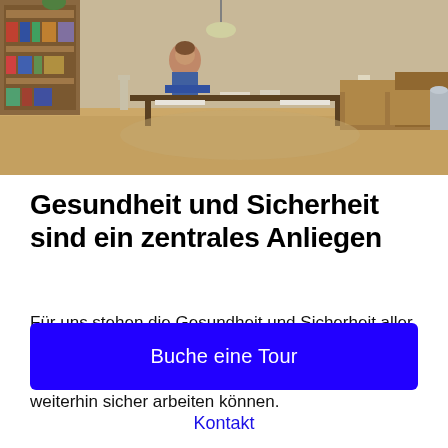[Figure (photo): Interior photo of a modern co-working or living space with wooden furniture, dining table with chairs, a bookshelf on the left, a sofa on the right, and warm wood-tone flooring.]
Gesundheit und Sicherheit sind ein zentrales Anliegen
Für uns stehen die Gesundheit und Sicherheit aller Mitglieder und Mitarbeiter in unseren Räumlichkeiten an erster Stelle, damit alle weiterhin sicher arbeiten können.
Buche eine Tour
Kontakt